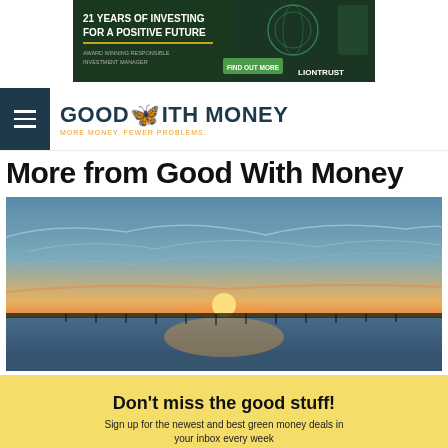[Figure (photo): Liontrust banner ad: '21 Years of Investing for a Positive Future' with green background and logo]
[Figure (logo): Good With Money logo with butterfly icon and tagline 'MORE MONEY. FEWER PROBLEMS.']
More from Good With Money
[Figure (photo): Sunset over water with pier silhouette and dramatic sky]
Don't miss the good stuff!
Sign up for the newest and best green money deals in your inbox every week
YES PLEASE!  NO THANKS
Top 4 climate friendly crowdfunds